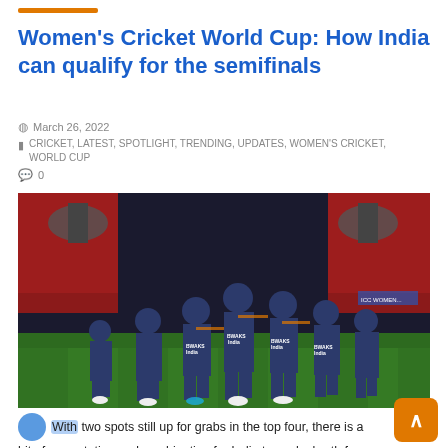Women's Cricket World Cup: How India can qualify for the semifinals
March 26, 2022
CRICKET, LATEST, SPOTLIGHT, TRENDING, UPDATES, WOMEN'S CRICKET, WORLD CUP
0
[Figure (photo): India women's cricket team players in navy blue jerseys walking on a cricket ground with stadium seating visible in background]
With two spots still up for grabs in the top four, there is a bit of permutation and combination for India to seal a berth for the semis in Women's Cricket World Cup 2022. India will face South Africa in